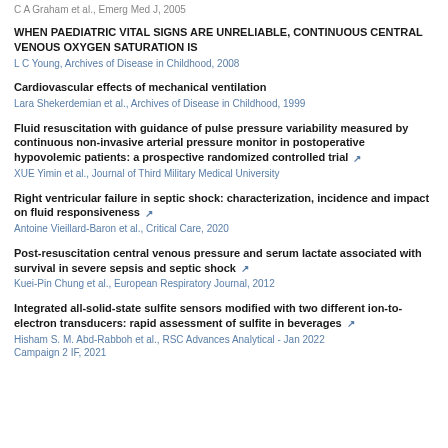C A Graham et al., Emerg Med J, 2005
WHEN PAEDIATRIC VITAL SIGNS ARE UNRELIABLE, CONTINUOUS CENTRAL VENOUS OXYGEN SATURATION IS
L C Young, Archives of Disease in Childhood, 2008
Cardiovascular effects of mechanical ventilation
Lara Shekerdemian et al., Archives of Disease in Childhood, 1999
Fluid resuscitation with guidance of pulse pressure variability measured by continuous non-invasive arterial pressure monitor in postoperative hypovolemic patients: a prospective randomized controlled trial
XUE Yimin et al., Journal of Third Military Medical University
Right ventricular failure in septic shock: characterization, incidence and impact on fluid responsiveness
Antoine Vieillard-Baron et al., Critical Care, 2020
Post-resuscitation central venous pressure and serum lactate associated with survival in severe sepsis and septic shock
Kuei-Pin Chung et al., European Respiratory Journal, 2012
Integrated all-solid-state sulfite sensors modified with two different ion-to-electron transducers: rapid assessment of sulfite in beverages
Hisham S. M. Abd-Rabboh et al., RSC Advances Analytical - Jan 2022 Campaign 2 IF, 2021